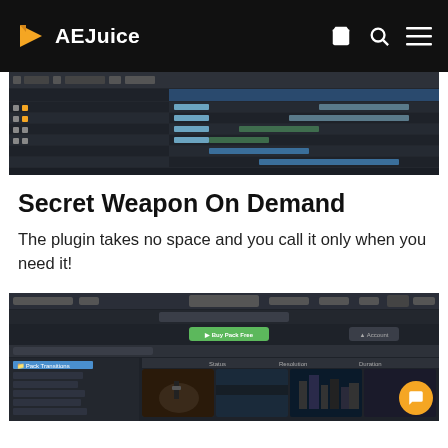AEJuice
[Figure (screenshot): After Effects timeline panel showing layers and keyframes on a dark background]
Secret Weapon On Demand
The plugin takes no space and you call it only when you need it!
[Figure (screenshot): AEJuice Pack Manager plugin interface showing a dark UI with a green Buy Pack Free button, folders panel on the left, and thumbnail previews of video presets on the right]